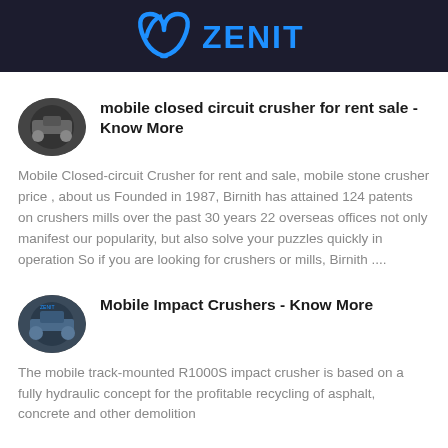ZENIT
mobile closed circuit crusher for rent sale - Know More
Mobile Closed-circuit Crusher for rent and sale, mobile stone crusher price , about us Founded in 1987, Birnith has attained 124 patents on crushers mills over the past 30 years 22 overseas offices not only manifest our popularity, but also solve your puzzles quickly in operation So if you are looking for crushers or mills, Birnith ....
Mobile Impact Crushers - Know More
The mobile track-mounted R1000S impact crusher is based on a fully hydraulic concept for the profitable recycling of asphalt, concrete and other demolition